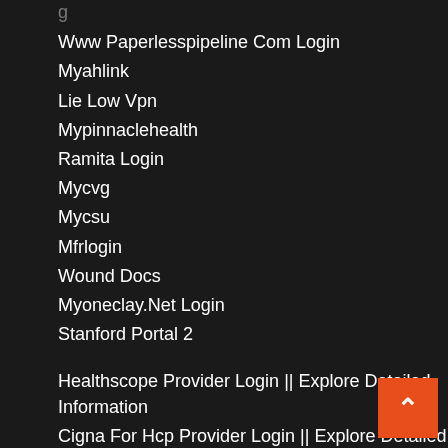Www Paperlesspipeline Com Login
Myahlink
Lie Low Vpn
Mypinnaclehealth
Ramita Login
Mycvg
Mycsu
Mfrlogin
Wound Docs
Myoneclay.Net Login
Stanford Portal 2
Healthscope Provider Login || Explore Detailed Information
Cigna For Hcp Provider Login || Explore Detailed Information
Physicians Mutual Provider Login || Explore Detailed